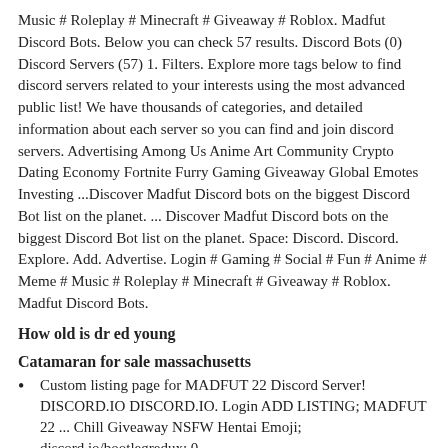Music # Roleplay # Minecraft # Giveaway # Roblox. Madfut Discord Bots. Below you can check 57 results. Discord Bots (0) Discord Servers (57) 1. Filters. Explore more tags below to find discord servers related to your interests using the most advanced public list! We have thousands of categories, and detailed information about each server so you can find and join discord servers. Advertising Among Us Anime Art Community Crypto Dating Economy Fortnite Furry Gaming Giveaway Global Emotes Investing ...Discover Madfut Discord bots on the biggest Discord Bot list on the planet. ... Discover Madfut Discord bots on the biggest Discord Bot list on the planet. Space: Discord. Discord. Explore. Add. Advertise. Login # Gaming # Social # Fun # Anime # Meme # Music # Roleplay # Minecraft # Giveaway # Roblox. Madfut Discord Bots.
How old is dr ed young
Catamaran for sale massachusetts
Custom listing page for MADFUT 22 Discord Server! DISCORD.IO DISCORD.IO. Login ADD LISTING; MADFUT 22 ... Chill Giveaway NSFW Hentai Emoji; discord.io/bootlegredux; 0 ...
firefox focus; asus sync; 2002 jeep grand cherokee no spark; most valuable emmett kelly; remington 870 ghost ring...